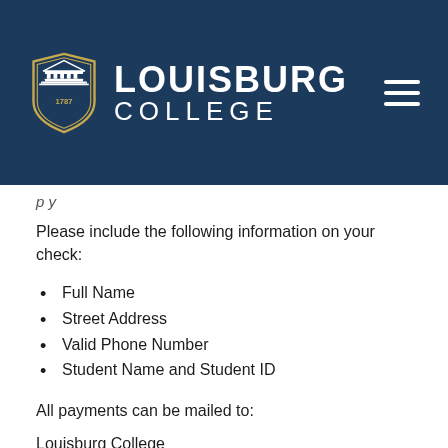[Figure (logo): Louisburg College logo with shield and institution name on dark navy background with hamburger menu icon]
p y
Please include the following information on your check:
Full Name
Street Address
Valid Phone Number
Student Name and Student ID
All payments can be mailed to:
Louisburg College
Attn: Financial Services Office